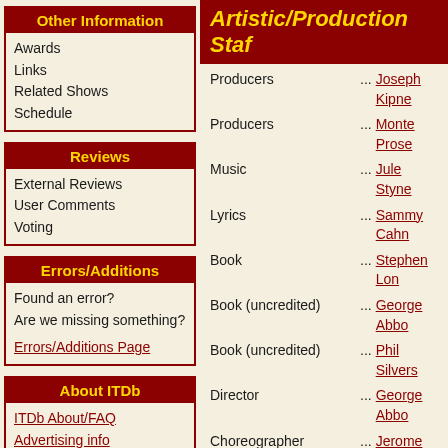Other Information
Awards
Links
Related Shows
Schedule
Reviews
External Reviews
User Comments
Voting
Errors/Additions
Found an error?
Are we missing something?
Errors/Additions Page
About ITDb
ITDb About/FAQ
Advertising info
Copyright info
Submission info
Artistic/Production Staf...
| Role | ... | Name |
| --- | --- | --- |
| Producers | ... | Joseph Kipne... |
| Producers | ... | Monte Prose... |
| Music | ... | Jule Styne |
| Lyrics | ... | Sammy Cahn... |
| Book | ... | Stephen Lon... |
| Book (uncredited) | ... | George Abbo... |
| Book (uncredited) | ... | Phil Silvers |
| Director | ... | George Abbo... |
| Choreographer | ... | Jerome Robb... |
Full Artistic/Production Staff
Original Broadway Cast...
... Phil Silvers
... Nanette Fabr...
... Jack McCaul...
... Mark Daws...